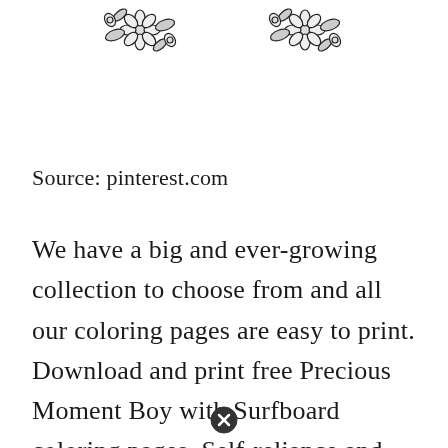[Figure (illustration): Two floral/flower decorative illustrations at the top of the page, one on the left and one on the right, rendered as black line art on white background.]
Source: pinterest.com
We have a big and ever-growing collection to choose from and all our coloring pages are easy to print. Download and print free Precious Moment Boy with Surfboard coloring pages. Self-reliance and perseverance to complete any job. Precious